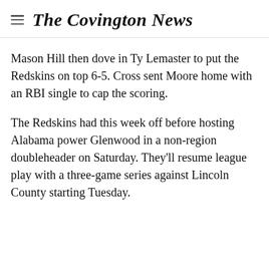The Covington News
Mason Hill then dove in Ty Lemaster to put the Redskins on top 6-5. Cross sent Moore home with an RBI single to cap the scoring.
The Redskins had this week off before hosting Alabama power Glenwood in a non-region doubleheader on Saturday. They'll resume league play with a three-game series against Lincoln County starting Tuesday.